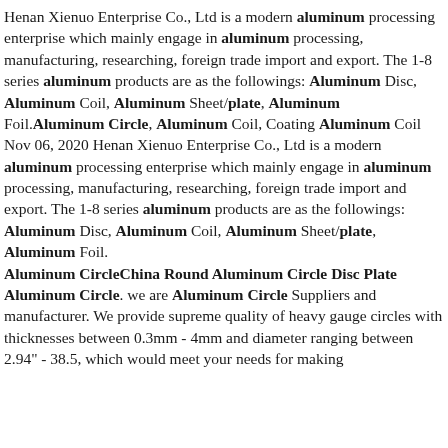Henan Xienuo Enterprise Co., Ltd is a modern aluminum processing enterprise which mainly engage in aluminum processing, manufacturing, researching, foreign trade import and export. The 1-8 series aluminum products are as the followings: Aluminum Disc, Aluminum Coil, Aluminum Sheet/plate, Aluminum Foil.Aluminum Circle, Aluminum Coil, Coating Aluminum Coil Nov 06, 2020 Henan Xienuo Enterprise Co., Ltd is a modern aluminum processing enterprise which mainly engage in aluminum processing, manufacturing, researching, foreign trade import and export. The 1-8 series aluminum products are as the followings: Aluminum Disc, Aluminum Coil, Aluminum Sheet/plate, Aluminum Foil.
Aluminum CircleChina Round Aluminum Circle Disc Plate Aluminum Circle. we are Aluminum Circle Suppliers and manufacturer. We provide supreme quality of heavy gauge circles with thicknesses between 0.3mm - 4mm and diameter ranging between 2.94" - 38.5, which would meet your needs for making